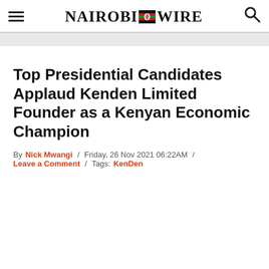Nairobi Wire
Top Presidential Candidates Applaud Kenden Limited Founder as a Kenyan Economic Champion
By Nick Mwangi / Friday, 26 Nov 2021 06:22AM / Leave a Comment / Tags: KenDen